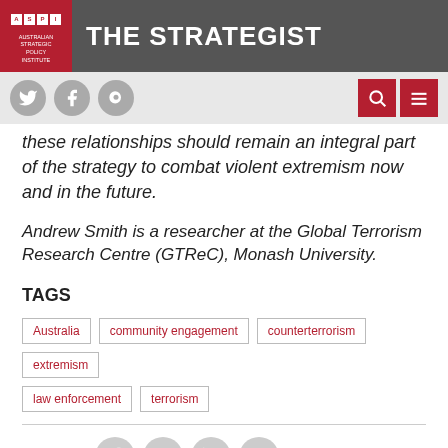THE STRATEGIST — ASPI Australian Strategic Policy Institute
these relationships should remain an integral part of the strategy to combat violent extremism now and in the future.
Andrew Smith is a researcher at the Global Terrorism Research Centre (GTReC), Monash University.
TAGS
Australia
community engagement
counterterrorism
extremism
law enforcement
terrorism
SHARE